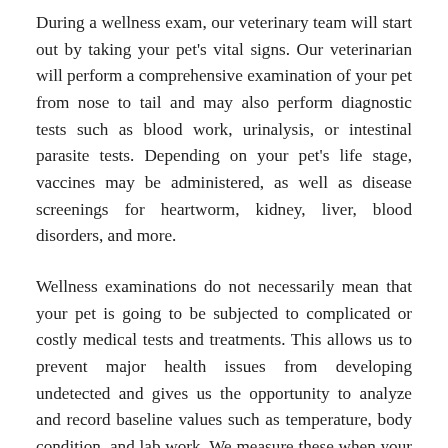During a wellness exam, our veterinary team will start out by taking your pet's vital signs. Our veterinarian will perform a comprehensive examination of your pet from nose to tail and may also perform diagnostic tests such as blood work, urinalysis, or intestinal parasite tests. Depending on your pet's life stage, vaccines may be administered, as well as disease screenings for heartworm, kidney, liver, blood disorders, and more.
Wellness examinations do not necessarily mean that your pet is going to be subjected to complicated or costly medical tests and treatments. This allows us to prevent major health issues from developing undetected and gives us the opportunity to analyze and record baseline values such as temperature, body condition, and lab work. We measure these when your pet is healthy in order to provide better care in the event of illness or emergency. A dental health exam and a weight check are always important parts of a wellness exam, and may indicate problems that can progress rapidly and have significant